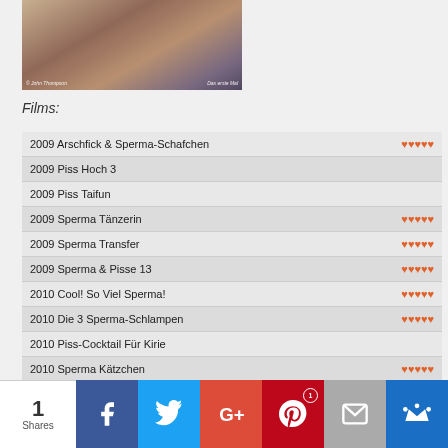[Figure (photo): Partial photo of a person, with two text watermarks at the bottom left and right corners]
Films:
| Film | Rating |
| --- | --- |
| 2009 Arschfick & Sperma-Schafchen | ♥♥♥♥♥ |
| 2009 Piss Hoch 3 |  |
| 2009 Piss Taifun |  |
| 2009 Sperma Tänzerin | ♥♥♥♥♥ |
| 2009 Sperma Transfer | ♥♥♥♥♥ |
| 2009 Sperma & Pisse 13 | ♥♥♥♥♥ |
| 2010 Cool! So Viel Sperma! | ♥♥♥♥♥ |
| 2010 Die 3 Sperma-Schlampen | ♥♥♥♥♥ |
| 2010 Piss-Cocktail Für Kirie |  |
| 2010 Sperma Kätzchen | ♥♥♥♥♥ |
1 Shares | Facebook | Twitter | Google+ | Pinterest 1 | Email | Crown